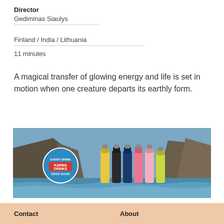Director
Gediminas Siaulys
Finland / India / Lithuania
11 minutes
A magical transfer of glowing energy and life is set in motion when one creature departs its earthly form.
[Figure (photo): Advertisement banner for Karma Drinks showing colorful beverage bottles in front of coastal rock formations with ocean waves. Blue circular logo reads 'Every Drink Karma Drinks Does Good'.]
Contact
About